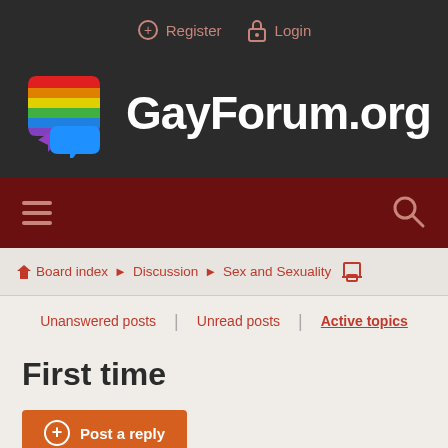Register  Login
[Figure (logo): GayForum.org logo with rainbow-colored chat bubble icon and white bold text GayForum.org on dark background]
hamburger menu and search icon navigation bar
Board index > Discussion > Sex and Sexuality (print icon)
Unanswered posts | Unread posts | Active topics
First time
Post a reply